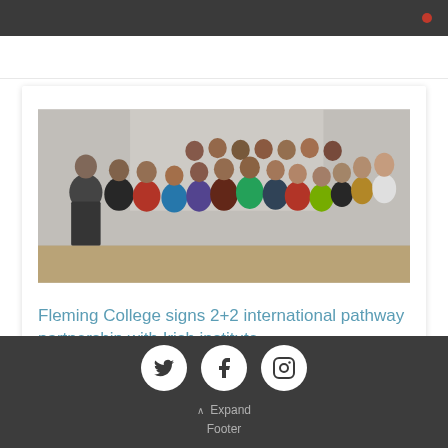[Figure (photo): Group photo of approximately 20 students and faculty/staff members standing together in an indoor setting, likely a classroom or meeting room.]
Fleming College signs 2+2 international pathway partnership with Irish institute
Expand Footer